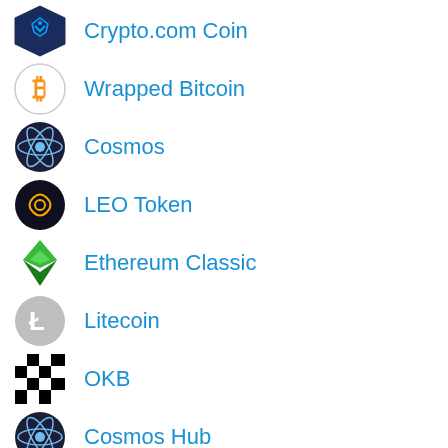Crypto.com Coin
Wrapped Bitcoin
Cosmos
LEO Token
Ethereum Classic
Litecoin
OKB
Cosmos Hub
Near
FTX
FTX Token
NEAR Protocol